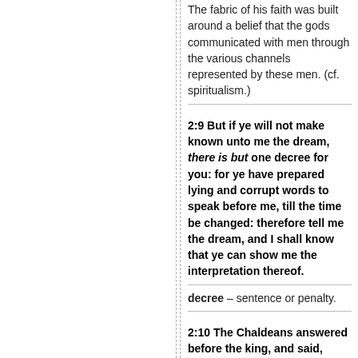The fabric of his faith was built around a belief that the gods communicated with men through the various channels represented by these men. (cf. spiritualism.)
2:9 But if ye will not make known unto me the dream, there is but one decree for you: for ye have prepared lying and corrupt words to speak before me, till the time be changed: therefore tell me the dream, and I shall know that ye can show me the interpretation thereof.
decree – sentence or penalty.
2:10 The Chaldeans answered before the king, and said, There is